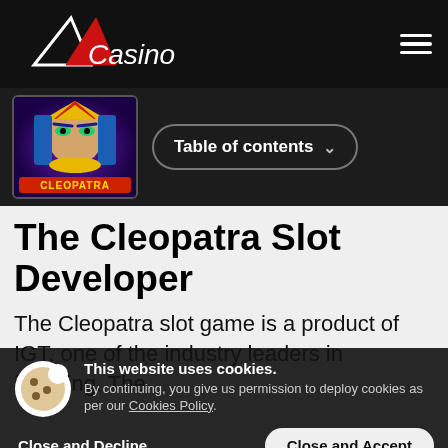[Figure (logo): Casino website logo with geometric triangles and red accent, 'Casino' in script text on black background]
[Figure (screenshot): Cleopatra slot game thumbnail showing stylized Egyptian queen with colorful makeup and 'CLEOPATRA' text]
Table of contents
The Cleopatra Slot Developer
The Cleopatra slot game is a product of IGT, one of the industry leaders in iGaming. The
This website uses cookies. By continuing, you give us permission to deploy cookies as per our Cookies Policy.
Close and Decline
Close and Accept